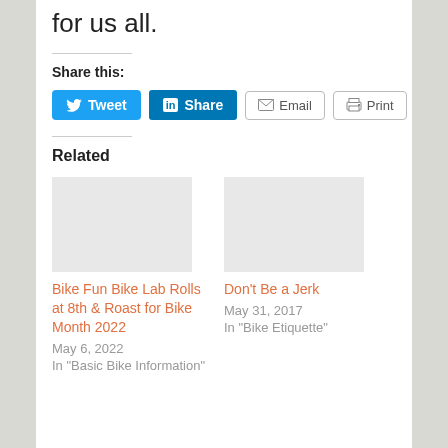for us all.
Share this:
[Figure (other): Social share buttons: Tweet (Twitter), Share (LinkedIn), Email, Print]
Related
[Figure (other): Placeholder image for related article: Bike Fun Bike Lab Rolls at 8th & Roast for Bike Month 2022]
Bike Fun Bike Lab Rolls at 8th & Roast for Bike Month 2022
May 6, 2022
In "Basic Bike Information"
[Figure (other): Placeholder image for related article: Don't Be a Jerk]
Don't Be a Jerk
May 31, 2017
In "Bike Etiquette"